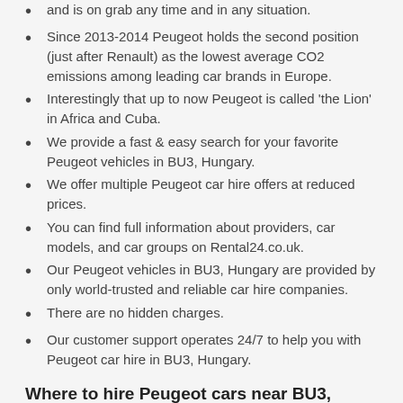and is on grab any time and in any situation.
Since 2013-2014 Peugeot holds the second position (just after Renault) as the lowest average CO2 emissions among leading car brands in Europe.
Interestingly that up to now Peugeot is called ‘the Lion’ in Africa and Cuba.
We provide a fast & easy search for your favorite Peugeot vehicles in BU3, Hungary.
We offer multiple Peugeot car hire offers at reduced prices.
You can find full information about providers, car models, and car groups on Rental24.co.uk.
Our Peugeot vehicles in BU3, Hungary are provided by only world-trusted and reliable car hire companies.
There are no hidden charges.
Our customer support operates 24/7 to help you with Peugeot car hire in BU3, Hungary.
Where to hire Peugeot cars near BU3, Hungary?
The prices and the number of available vehicles vary.